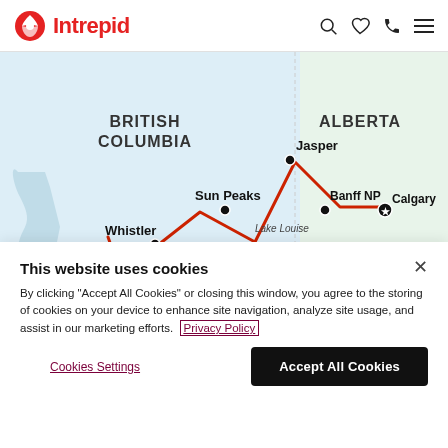Intrepid
[Figure (map): Route map showing British Columbia and Alberta, Canada, with a red route line connecting Vancouver/Whistler, Sun Peaks, Jasper, Lake Louise, Banff NP, and Calgary.]
This website uses cookies
By clicking "Accept All Cookies" or closing this window, you agree to the storing of cookies on your device to enhance site navigation, analyze site usage, and assist in our marketing efforts. Privacy Policy
Cookies Settings
Accept All Cookies